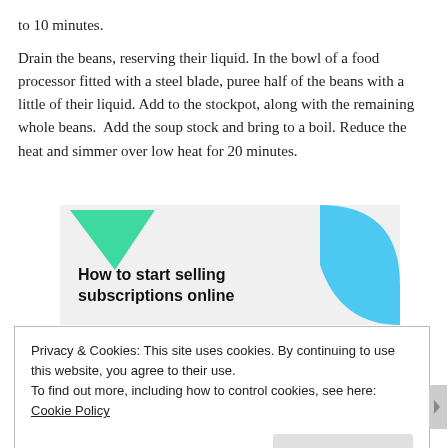to 10 minutes.
Drain the beans, reserving their liquid. In the bowl of a food processor fitted with a steel blade, puree half of the beans with a little of their liquid. Add to the stockpot, along with the remaining whole beans.  Add the soup stock and bring to a boil. Reduce the heat and simmer over low heat for 20 minutes.
[Figure (infographic): Advertisement banner with light gray background, a green triangular shape top-left and a blue curved shape right side, with bold text 'How to start selling subscriptions online']
Privacy & Cookies: This site uses cookies. By continuing to use this website, you agree to their use.
To find out more, including how to control cookies, see here: Cookie Policy
Close and accept